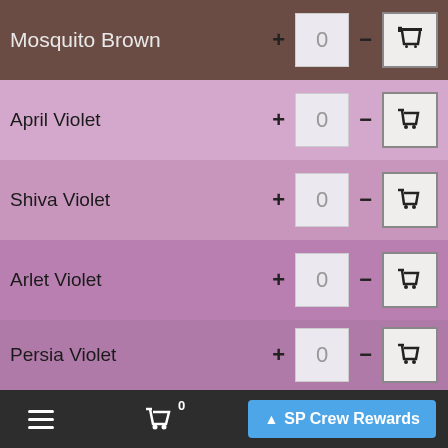Mosquito Brown, quantity 0
April Violet, quantity 0
Shiva Violet, quantity 0
Arlet Violet, quantity 0
Persia Violet, quantity 0
Mandala Violet, quantity 0
Bishop Violet, quantity 0
≡  🛒 0  ▲ SP Crew Rewards